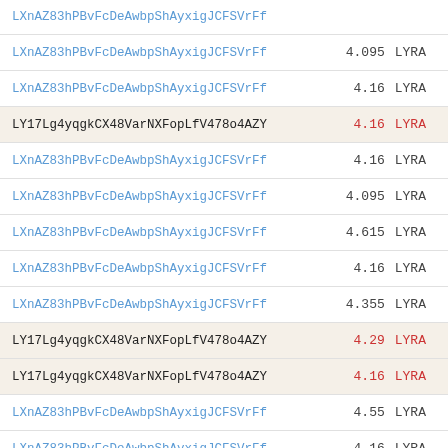| Name | Value | Currency |
| --- | --- | --- |
| LXnAZ83hPBvFcDeAwbpShAyxigJCFSVrFf | 4.095 | LYRA |
| LXnAZ83hPBvFcDeAwbpShAyxigJCFSVrFf | 4.16 | LYRA |
| LY17Lg4yqgkCX48VarNXFopLfV478o4AZY | 4.16 | LYRA |
| LXnAZ83hPBvFcDeAwbpShAyxigJCFSVrFf | 4.16 | LYRA |
| LXnAZ83hPBvFcDeAwbpShAyxigJCFSVrFf | 4.095 | LYRA |
| LXnAZ83hPBvFcDeAwbpShAyxigJCFSVrFf | 4.615 | LYRA |
| LXnAZ83hPBvFcDeAwbpShAyxigJCFSVrFf | 4.16 | LYRA |
| LXnAZ83hPBvFcDeAwbpShAyxigJCFSVrFf | 4.355 | LYRA |
| LY17Lg4yqgkCX48VarNXFopLfV478o4AZY | 4.29 | LYRA |
| LY17Lg4yqgkCX48VarNXFopLfV478o4AZY | 4.16 | LYRA |
| LXnAZ83hPBvFcDeAwbpShAyxigJCFSVrFf | 4.55 | LYRA |
| LXnAZ83hPBvFcDeAwbpShAyxigJCFSVrFf | 4.16 | LYRA |
| LXnAZ83hPBvFcDeAwbpShAyxigJCFSVrFf | 4.225 | LYRA |
| LY17Lg4yqgkCX48VarNXFopLfV478o4AZY | 4.16 | LYRA |